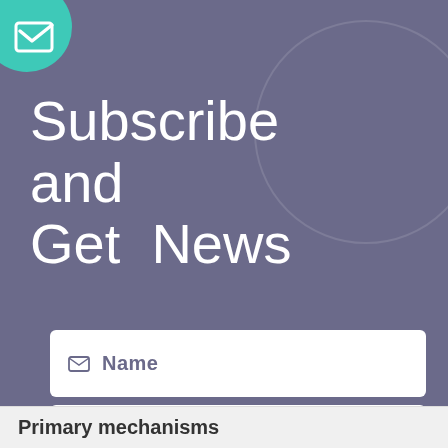[Figure (illustration): Subscription form UI with purple background, teal circle with checkmark icon in top left, large decorative circle outline in top right, title text 'Subscribe and Get News', two white input fields for Name and E-Mail, and two buttons: Submit (red) and Exit (teal)]
Subscribe and Get News
Name
E-Mail
Submit
Exit
Primary mechanisms